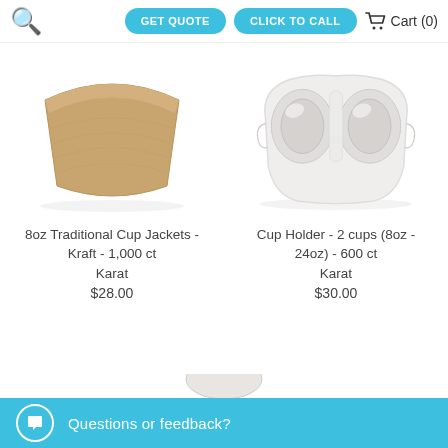GET QUOTE   CLICK TO CALL   Cart (0)
[Figure (photo): 8oz Traditional Cup Jacket in kraft/brown cardboard, fan-shaped]
8oz Traditional Cup Jackets - Kraft - 1,000 ct
Karat
$28.00
[Figure (photo): Cup holder for 2 cups, white pulp/molded fiber, 8oz-24oz size]
Cup Holder - 2 cups (8oz - 24oz) - 600 ct
Karat
$30.00
Questions or feedback?